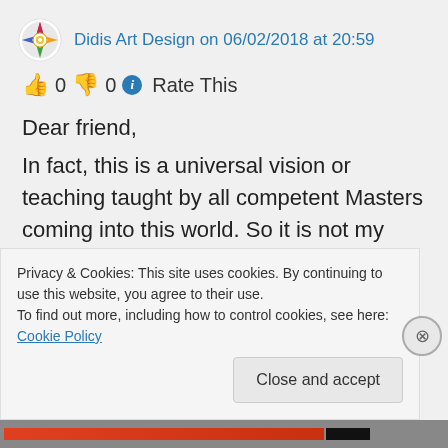Didis Art Design on 06/02/2018 at 20:59
👍 0 👎 0 ℹ Rate This
Dear friend,
In fact, this is a universal vision or teaching taught by all competent Masters coming into this world. So it is not my merit and thus my thankfulness goes to all those holy men who even sacrificed their lives to bring compassion and spirituality into the hearts of the people in one form or another.
Privacy & Cookies: This site uses cookies. By continuing to use this website, you agree to their use.
To find out more, including how to control cookies, see here: Cookie Policy
Close and accept